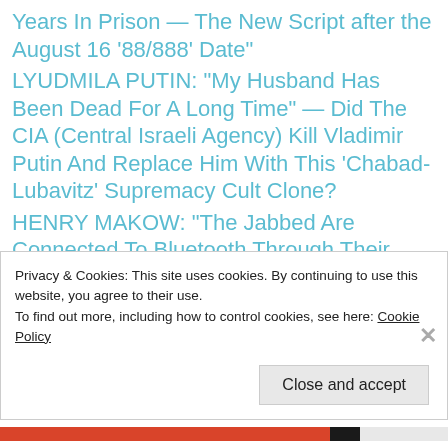Years In Prison — The New Script after the August 16 '88/888' Date"
LYUDMILA PUTIN: "My Husband Has Been Dead For A Long Time" — Did The CIA (Central Israeli Agency) Kill Vladimir Putin And Replace Him With This 'Chabad-Lubavitz' Supremacy Cult Clone?
HENRY MAKOW: "The Jabbed Are Connected To Bluetooth Through Their Personal '666 Mark Of The Beast' Microchip 'Certificate Of
Privacy & Cookies: This site uses cookies. By continuing to use this website, you agree to their use.
To find out more, including how to control cookies, see here: Cookie Policy